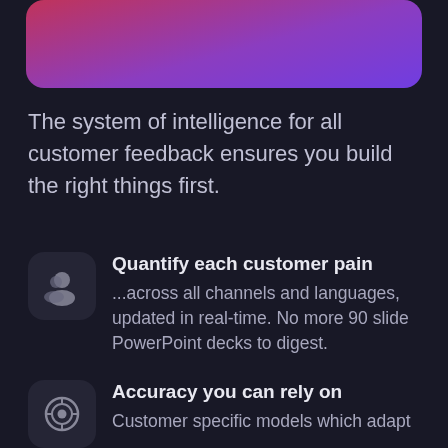[Figure (illustration): Rounded rectangle with a pink-to-purple gradient, partially cropped at top of page]
The system of intelligence for all customer feedback ensures you build the right things first.
Quantify each customer pain — ...across all channels and languages, updated in real-time. No more 90 slide PowerPoint decks to digest.
Accuracy you can rely on — Customer specific models which adapt